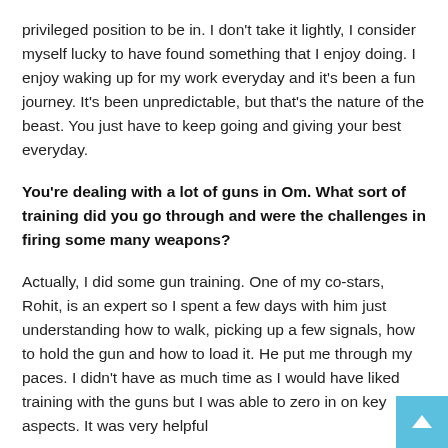privileged position to be in. I don't take it lightly, I consider myself lucky to have found something that I enjoy doing. I enjoy waking up for my work everyday and it's been a fun journey. It's been unpredictable, but that's the nature of the beast. You just have to keep going and giving your best everyday.
You're dealing with a lot of guns in Om. What sort of training did you go through and were the challenges in firing some many weapons?
Actually, I did some gun training. One of my co-stars, Rohit, is an expert so I spent a few days with him just understanding how to walk, picking up a few signals, how to hold the gun and how to load it. He put me through my paces. I didn't have as much time as I would have liked training with the guns but I was able to zero in on key aspects. It was very helpful